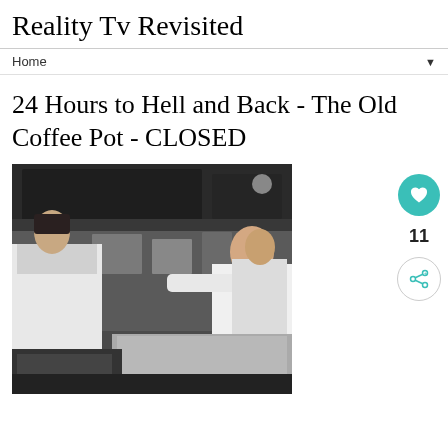Reality Tv Revisited
Home
24 Hours to Hell and Back - The Old Coffee Pot - CLOSED
[Figure (photo): A kitchen scene showing chefs in white uniforms, with one man in a white t-shirt gesturing/pointing, in a commercial kitchen with stainless steel equipment and dark ventilation hoods.]